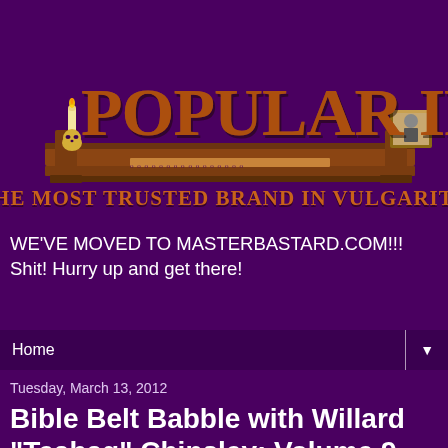[Figure (logo): Popular Irony website banner logo with ornate wooden shelf design, candle and skull on left, framed portrait on right, text reading 'POPULAR IRONY' in large decorative orange-brown letters and 'THE MOST TRUSTED BRAND IN VULGARITY' below on a deep purple background]
WE'VE MOVED TO MASTERBASTARD.COM!!! Shit! Hurry up and get there!
Home ▼
Tuesday, March 13, 2012
Bible Belt Babble with Willard "Teabag" Chinsley: Volume 9